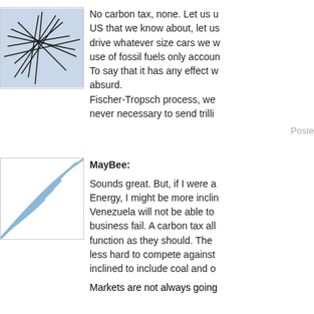[Figure (illustration): User avatar image showing abstract dark scribble/network lines on light blue background]
No carbon tax, none. Let us use the US that we know about, let us drive whatever size cars we want, use of fossil fuels only accou... To say that it has any effect w... absurd. Fischer-Tropsch process, we... never necessary to send trilli...
Poste...
[Figure (illustration): User avatar image showing light blue curved wave/fan lines pattern on white background]
MayBee:
Sounds great. But, if I were a... Energy, I might be more incli... Venezuela will not be able to... business fail. A carbon tax all... function as they should. The ... less hard to compete against... inclined to include coal and o...
Markets are not always going...